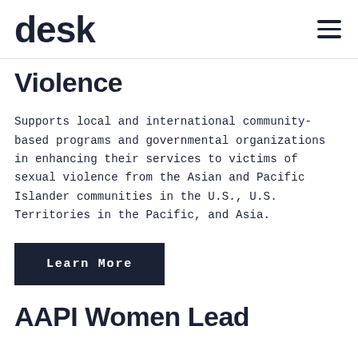desk
Violence
Supports local and international community-based programs and governmental organizations in enhancing their services to victims of sexual violence from the Asian and Pacific Islander communities in the U.S., U.S. Territories in the Pacific, and Asia.
Learn More
AAPI Women Lead